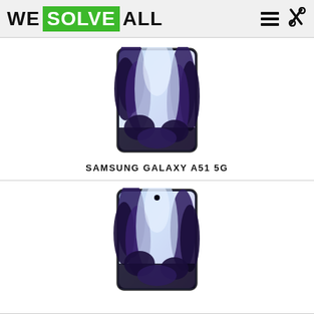WE SOLVE ALL
[Figure (photo): Samsung Galaxy A51 5G smartphone product photo showing the front of the phone with a landscape wallpaper (trees and sky)]
SAMSUNG GALAXY A51 5G
[Figure (photo): Second Samsung Galaxy smartphone product photo showing the front of the phone with a similar landscape wallpaper]